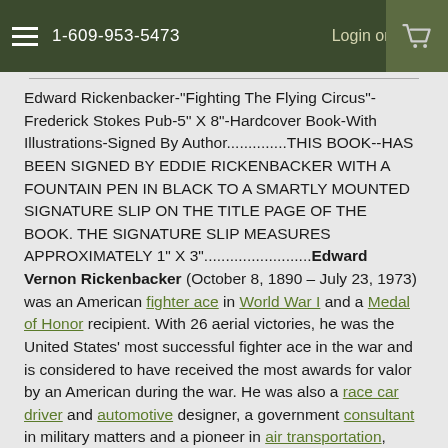1-609-953-5473   Login or Sign
Edward Rickenbacker-"Fighting The Flying Circus"-Frederick Stokes Pub-5" X 8"-Hardcover Book-With Illustrations-Signed By Author..............THIS BOOK--HAS BEEN SIGNED BY EDDIE RICKENBACKER WITH A FOUNTAIN PEN IN BLACK TO A SMARTLY MOUNTED SIGNATURE SLIP ON THE TITLE PAGE OF THE BOOK. THE SIGNATURE SLIP MEASURES APPROXIMATELY 1" X 3"...........................Edward Vernon Rickenbacker (October 8, 1890 – July 23, 1973) was an American fighter ace in World War I and a Medal of Honor recipient. With 26 aerial victories, he was the United States' most successful fighter ace in the war and is considered to have received the most awards for valor by an American during the war. He was also a race car driver and automotive designer, a government consultant in military matters and a pioneer in air transportation, particularly as the long-time head of Eastern Air Lines.....................THIS BOOK--HAS BEEN SIGNED BY EDDIE RICKENBACKER WITH A FOUNTAIN PEN IN BLACK TO A SMARTLY MOUNTED SIGNATURE SLIP ON THE